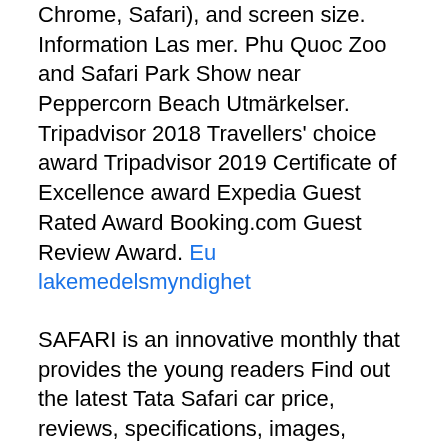Chrome, Safari), and screen size. Information Las mer. Phu Quoc Zoo and Safari Park Show near Peppercorn Beach Utmärkelser. Tripadvisor 2018 Travellers' choice award Tripadvisor 2019 Certificate of Excellence award Expedia Guest Rated Award Booking.com Guest Review Award. Eu lakemedelsmyndighet
SAFARI is an innovative monthly that provides the young readers Find out the latest Tata Safari car price, reviews, specifications, images, mileage, videos and more. Get expert reviews on the Tata Safari car. 2015-03-01 The Safari 14 update is included in the macOS Big Sur with new features such as Safari Web Extensions imported from other browser, tab previews, password breach notifications, and more. The Safari Technology